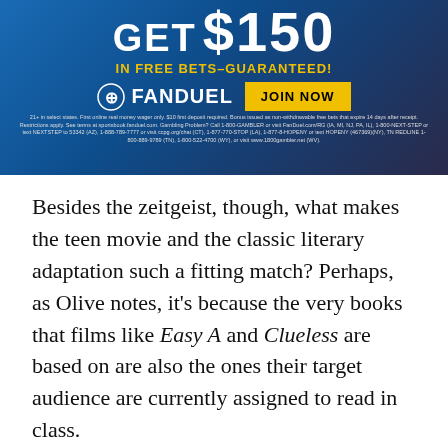[Figure (other): FanDuel advertisement banner: GET $150 IN FREE BETS–GUARANTEED! with FanDuel logo and JOIN NOW button, plus fine print disclaimer text.]
Besides the zeitgeist, though, what makes the teen movie and the classic literary adaptation such a fitting match? Perhaps, as Olive notes, it's because the very books that films like Easy A and Clueless are based on are also the ones their target audience are currently assigned to read in class.
THE RINGER